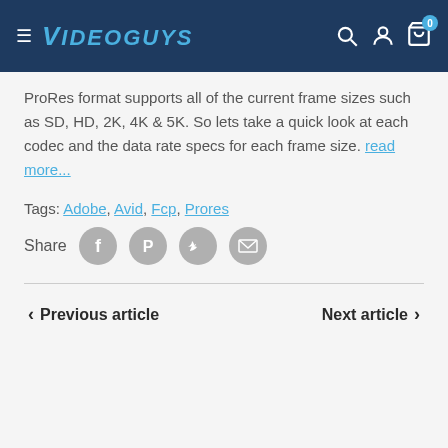Videoguys
ProRes format supports all of the current frame sizes such as SD, HD, 2K, 4K & 5K. So lets take a quick look at each codec and the data rate specs for each frame size. read more...
Tags: Adobe, Avid, Fcp, Prores
Share
Previous article
Next article